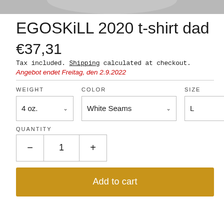[Figure (photo): Bottom portion of a grey t-shirt product image, cropped at top of page]
EGOSKiLL 2020 t-shirt dad
€37,31
Tax included. Shipping calculated at checkout.
Angebot endet Freitag, den 2.9.2022
WEIGHT: 4 oz. | COLOR: White Seams | SIZE: L
QUANTITY: 1
Add to cart